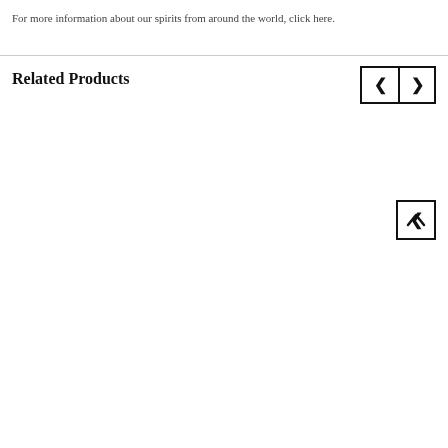For more information about our spirits from around the world, click here.
Related Products
[Figure (other): Navigation arrow buttons (left chevron and right chevron) in bordered square boxes, and a scroll-up arrow button in a bordered square box.]